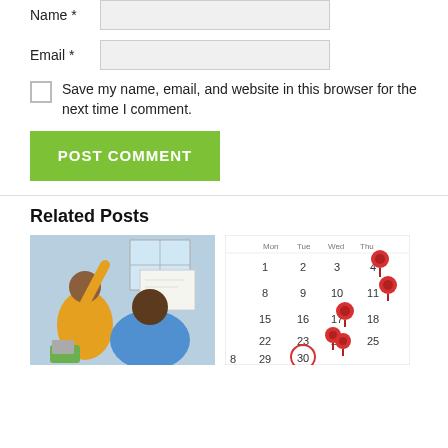Name *
Email *
Save my name, email, and website in this browser for the next time I comment.
POST COMMENT
Related Posts
[Figure (photo): A person in yellow shirt raising hand in a meeting or classroom setting, with another person in blue shirt in the foreground.]
[Figure (photo): A calendar showing dates 1-30 with red push pins on dates 4, 11, 17, and a red circle around date 30.]